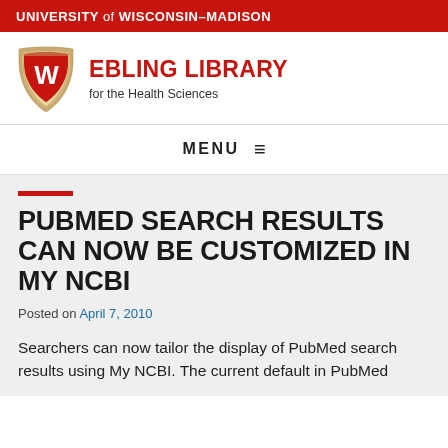UNIVERSITY of WISCONSIN-MADISON
[Figure (logo): University of Wisconsin-Madison Ebling Library for the Health Sciences logo with shield emblem]
MENU ≡
PUBMED SEARCH RESULTS CAN NOW BE CUSTOMIZED IN MY NCBI
Posted on April 7, 2010
Searchers can now tailor the display of PubMed search results using My NCBI. The current default in PubMed